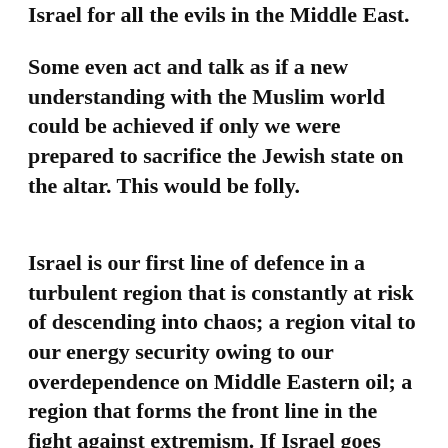Israel for all the evils in the Middle East.
Some even act and talk as if a new understanding with the Muslim world could be achieved if only we were prepared to sacrifice the Jewish state on the altar. This would be folly.
Israel is our first line of defence in a turbulent region that is constantly at risk of descending into chaos; a region vital to our energy security owing to our overdependence on Middle Eastern oil; a region that forms the front line in the fight against extremism. If Israel goes down, we